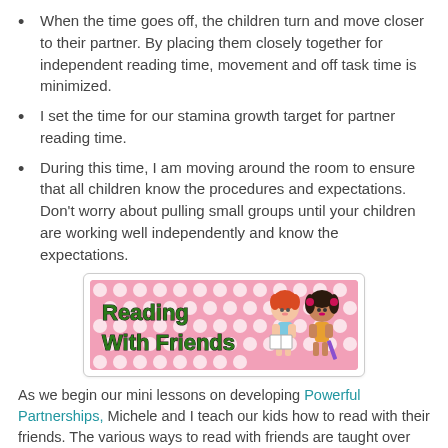When the time goes off, the children turn and move closer to their partner. By placing them closely together for independent reading time, movement and off task time is minimized.
I set the time for our stamina growth target for partner reading time.
During this time, I am moving around the room to ensure that all children know the procedures and expectations. Don't worry about pulling small groups until your children are working well independently and know the expectations.
[Figure (illustration): Reading With Friends banner image with cartoon children reading, pink polka dot background, green bold text]
As we begin our mini lessons on developing Powerful Partnerships, Michele and I teach our kids how to read with their friends. The various ways to read with friends are taught over the course of the week. Each day, we learn a